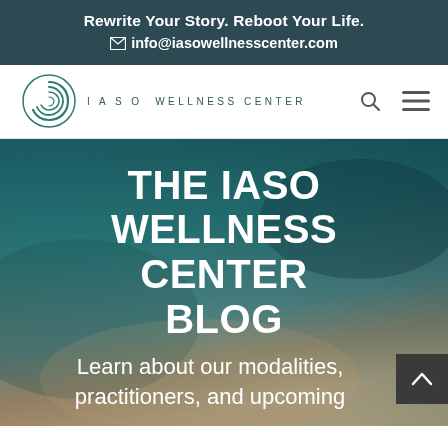Rewrite Your Story. Reboot Your Life.
✉ info@iasowellnesscenter.com
[Figure (logo): IASO Wellness Center logo with teal spiral/circle emblem and text 'I A S O WELLNESS CENTER']
THE IASO WELLNESS CENTER BLOG
Learn about our modalities, practitioners, and upcoming